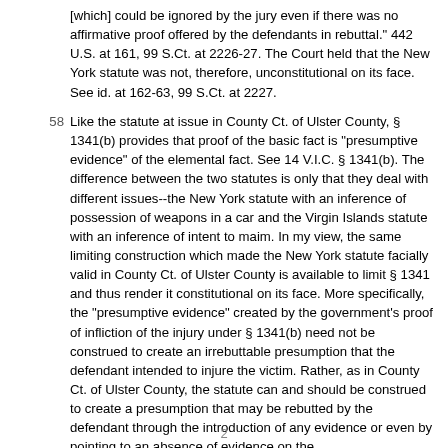[which] could be ignored by the jury even if there was no affirmative proof offered by the defendants in rebuttal." 442 U.S. at 161, 99 S.Ct. at 2226-27. The Court held that the New York statute was not, therefore, unconstitutional on its face. See id. at 162-63, 99 S.Ct. at 2227.
58 Like the statute at issue in County Ct. of Ulster County, § 1341(b) provides that proof of the basic fact is "presumptive evidence" of the elemental fact. See 14 V.I.C. § 1341(b). The difference between the two statutes is only that they deal with different issues--the New York statute with an inference of possession of weapons in a car and the Virgin Islands statute with an inference of intent to maim. In my view, the same limiting construction which made the New York statute facially valid in County Ct. of Ulster County is available to limit § 1341 and thus render it constitutional on its face. More specifically, the "presumptive evidence" created by the government's proof of infliction of the injury under § 1341(b) need not be construed to create an irrebuttable presumption that the defendant intended to injure the victim. Rather, as in County Ct. of Ulster County, the statute can and should be construed to create a presumption that may be rebutted by the defendant through the introduction of any evidence or even by pointing to an absence of evidence on the
2